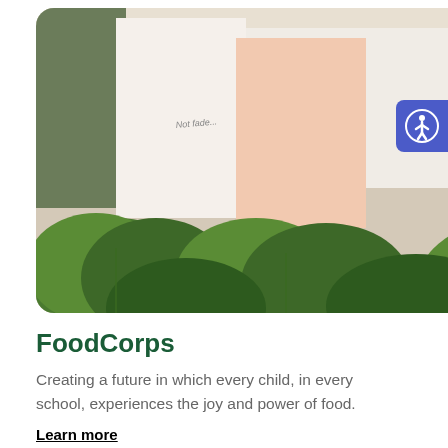[Figure (photo): Group of people working in a garden with leafy green plants, wearing colorful gloves. People wearing casual shirts including one with a floral/animal print. A white semi-circle overlay appears at the bottom right of the image along with a loading spinner icon.]
FoodCorps
Creating a future in which every child, in every school, experiences the joy and power of food.
Learn more